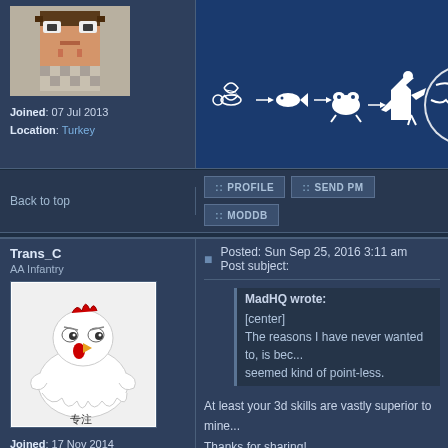[Figure (illustration): Top section showing user avatar area on left and an evolution-themed banner image on the right with white silhouettes of DNA, fish, frog, dinosaur, and Earth on blue background]
Joined: 07 Jul 2013
Location: Turkey
Back to top
PROFILE   SEND PM   MODDB
Trans_C
AA Infantry
[Figure (illustration): Avatar image of a cartoon chicken/rooster with a skeptical expression, white feathers, with Chinese characters overlay]
Joined: 17 Nov 2014
Location: Somewhere in China
Posted: Sun Sep 25, 2016 3:11 am    Post subject:
MadHQ wrote:
[center]
The reasons I have never wanted to, is bec... seemed kind of point-less.
At least your 3d skills are vastly superior to mine...
Thanks for sharing!
Aka DirtyChicken
Back to top
PROFILE   SEND PM
Zero Fanboy